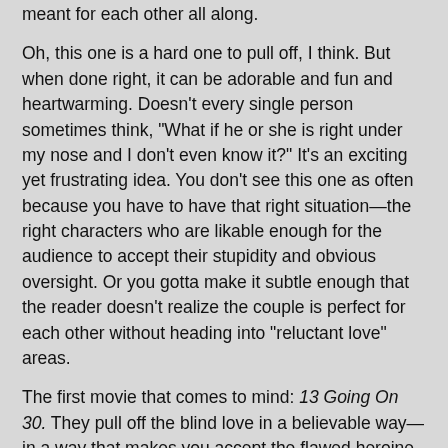meant for each other all along.
Oh, this one is a hard one to pull off, I think. But when done right, it can be adorable and fun and heartwarming. Doesn't every single person sometimes think, "What if he or she is right under my nose and I don't even know it?" It's an exciting yet frustrating idea. You don't see this one as often because you have to have that right situation—the right characters who are likable enough for the audience to accept their stupidity and obvious oversight. Or you gotta make it subtle enough that the reader doesn't realize the couple is perfect for each other without heading into "reluctant love" areas.
The first movie that comes to mind: 13 Going On 30. They pull off the blind love in a believable way—in a way that makes you accept the flawed heroine. Jenna is thirteen and just wants to be popular. She doesn't realize that her best friend Matt is in love with her. After a terrible birthday disaster, she gets whisked to the future where she's thirty and has all the things she wanted at thirteen. Her life sucks; she learns lessons; she realizes she loves Matt when she couldn't see it (in the past and in the future). When she